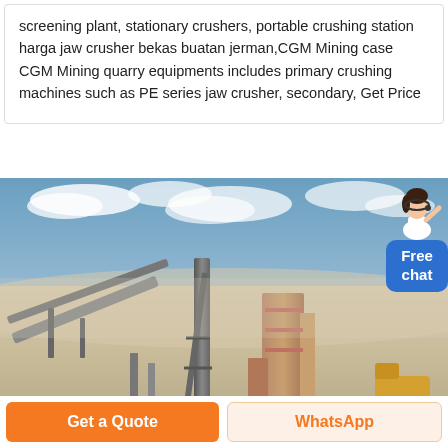screening plant, stationary crushers, portable crushing station harga jaw crusher bekas buatan jerman,CGM Mining case CGM Mining quarry equipments includes primary crushing machines such as PE series jaw crusher, secondary, Get Price
[Figure (photo): Outdoor industrial quarry or mining site with conveyor belts, a tall tower structure, reddish-brown silos or structures, a dump truck in the background, dusty ground, and a partly cloudy blue sky.]
[Figure (illustration): Free chat widget showing a woman avatar in white outfit and a blue rounded button with text 'Free chat'.]
Get a Quote
WhatsApp